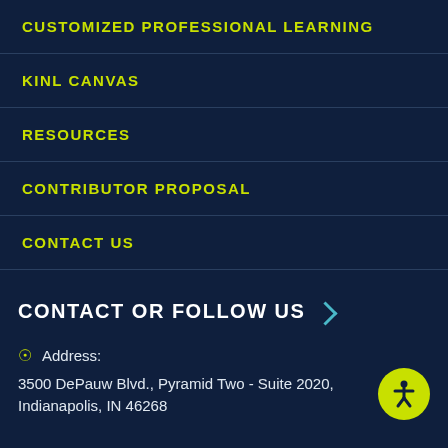CUSTOMIZED PROFESSIONAL LEARNING
KINL CANVAS
RESOURCES
CONTRIBUTOR PROPOSAL
CONTACT US
CONTACT OR FOLLOW US
Address: 3500 DePauw Blvd., Pyramid Two - Suite 2020, Indianapolis, IN 46268